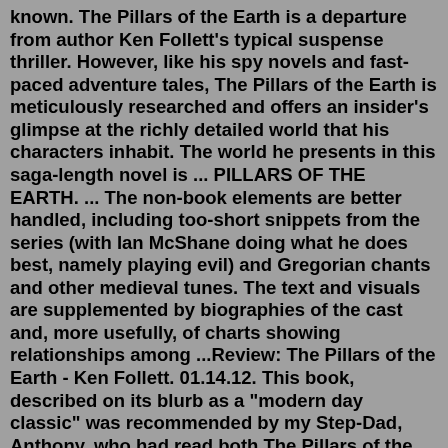known. The Pillars of the Earth is a departure from author Ken Follett's typical suspense thriller. However, like his spy novels and fast-paced adventure tales, The Pillars of the Earth is meticulously researched and offers an insider's glimpse at the richly detailed world that his characters inhabit. The world he presents in this saga-length novel is ... PILLARS OF THE EARTH. ... The non-book elements are better handled, including too-short snippets from the series (with Ian McShane doing what he does best, namely playing evil) and Gregorian chants and other medieval tunes. The text and visuals are supplemented by biographies of the cast and, more usefully, of charts showing relationships among ...Review: The Pillars of the Earth - Ken Follett. 01.14.12. This book, described on its blurb as a "modern day classic" was recommended by my Step-Dad, Anthony, who had read both The Pillars of the Earth and its sequel, A World Without End and is a big fan of Ken Follet's historical fiction. It was recently made into a